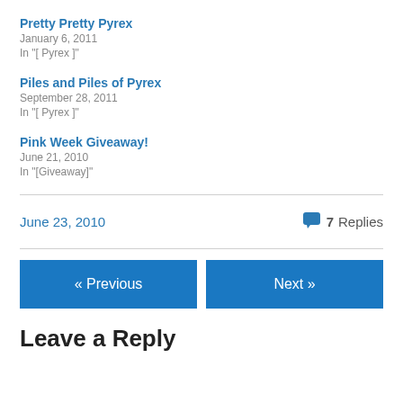Pretty Pretty Pyrex
January 6, 2011
In "[ Pyrex ]"
Piles and Piles of Pyrex
September 28, 2011
In "[ Pyrex ]"
Pink Week Giveaway!
June 21, 2010
In "[Giveaway]"
June 23, 2010
7 Replies
« Previous
Next »
Leave a Reply